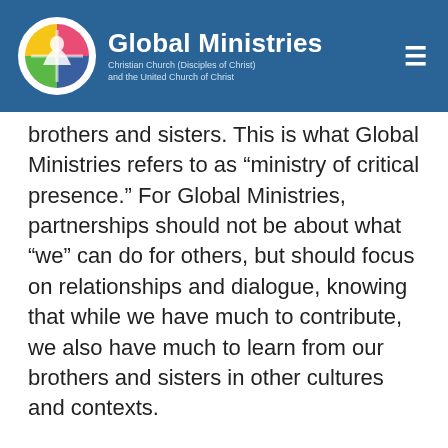Global Ministries | Christian Church (Disciples of Christ) and the United Church of Christ
brothers and sisters. This is what Global Ministries refers to as “ministry of critical presence.” For Global Ministries, partnerships should not be about what “we” can do for others, but should focus on relationships and dialogue, knowing that while we have much to contribute, we also have much to learn from our brothers and sisters in other cultures and contexts.
In light of this emphasis on relationships, last year Country Club Christian invited three South Africans to come to the United States